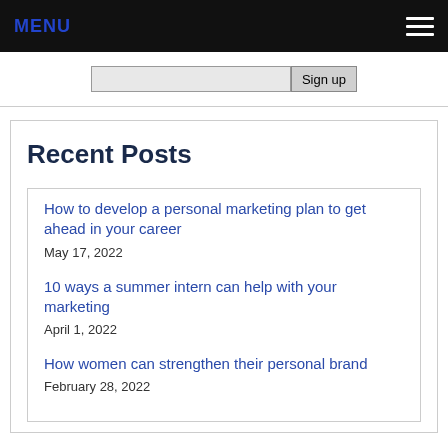MENU
Sign up
Recent Posts
How to develop a personal marketing plan to get ahead in your career
May 17, 2022
10 ways a summer intern can help with your marketing
April 1, 2022
How women can strengthen their personal brand
February 28, 2022